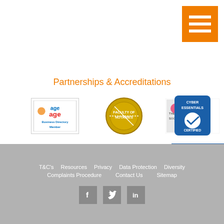[Figure (other): Orange hamburger menu button in the top right corner with three white horizontal bars]
Partnerships & Accreditations
[Figure (logo): Age UK Business Directory Member logo]
[Figure (logo): Faculty of Notaries gold seal logo]
[Figure (logo): The Law Society Conveyancing Quality accreditation logo]
[Figure (logo): Cyber Essentials Certified logo]
[Figure (logo): STEP - Advising Families Across Generations logo]
[Figure (logo): SFE - Solicitors for the Elderly logo]
T&C's  Resources  Privacy  Data Protection  Diversity  Complaints Procedure  Contact Us  Sitemap